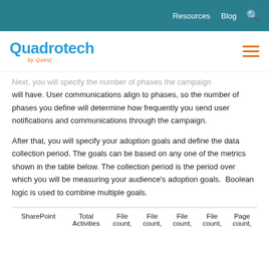Resources   Blog   🔍
Quadrotech by Quest
Next, you will specify the number of phases the campaign will have. User communications align to phases, so the number of phases you define will determine how frequently you send user notifications and communications through the campaign.
After that, you will specify your adoption goals and define the data collection period. The goals can be based on any one of the metrics shown in the table below. The collection period is the period over which you will be measuring your audience's adoption goals.  Boolean logic is used to combine multiple goals.
| SharePoint | Total Activities | File count, | File count, | File count, | File count, | Page count, |
| --- | --- | --- | --- | --- | --- | --- |